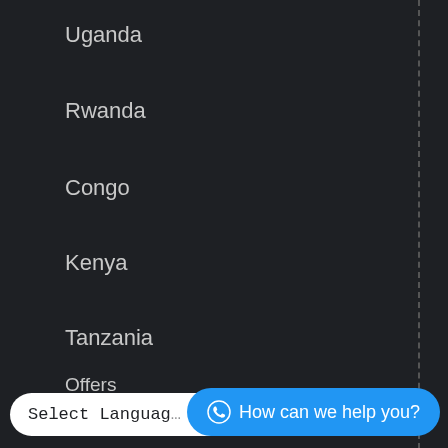Uganda
Rwanda
Congo
Kenya
Tanzania
USEFUL LINKS
PesaPal
Travel Pl...
Offers
Select Language
How can we help you?